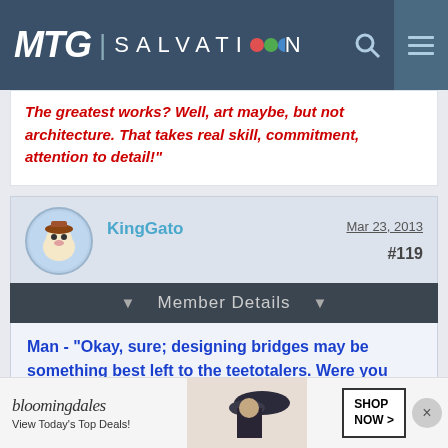MTG SALVATION
The greatest works? Well, art maybe, but not architecture. That takes real skill, commitment, attention to detail!"
KingGato  Mar 23, 2013  #119
Member Details
Man - "Okay, sure; designing bridges may be something best left to the teetotalers. Were you planing on any civic engineering tonight?"
[Figure (photo): Bloomingdales advertisement banner showing a woman in a hat with 'View Today's Top Deals!' and 'SHOP NOW >' button]